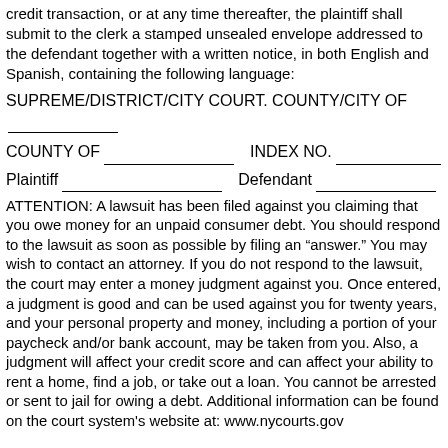credit transaction, or at any time thereafter, the plaintiff shall submit to the clerk a stamped unsealed envelope addressed to the defendant together with a written notice, in both English and Spanish, containing the following language:
SUPREME/DISTRICT/CITY COURT. COUNTY/CITY OF __________
COUNTY OF ______________ INDEX NO. ___________
Plaintiff ____________________ Defendant ______________
ATTENTION: A lawsuit has been filed against you claiming that you owe money for an unpaid consumer debt. You should respond to the lawsuit as soon as possible by filing an "answer." You may wish to contact an attorney. If you do not respond to the lawsuit, the court may enter a money judgment against you. Once entered, a judgment is good and can be used against you for twenty years, and your personal property and money, including a portion of your paycheck and/or bank account, may be taken from you. Also, a judgment will affect your credit score and can affect your ability to rent a home, find a job, or take out a loan. You cannot be arrested or sent to jail for owing a debt. Additional information can be found on the court system's website at: www.nycourts.gov